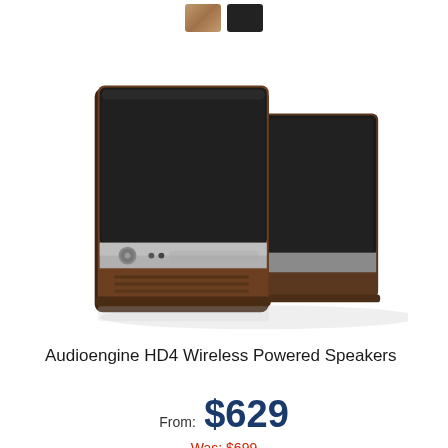[Figure (other): Two color swatches: walnut/brown and black]
[Figure (photo): Audioengine HD4 Wireless Powered Speakers — a pair of bookshelf speakers with walnut wood veneer enclosures, black fabric grilles on top, and a silver/chrome front panel with volume knob and indicator lights]
Audioengine HD4 Wireless Powered Speakers
From: $629
Was: $699